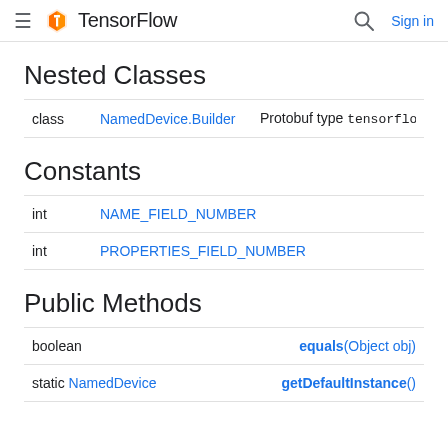TensorFlow  Sign in
Nested Classes
|  | Name | Description |
| --- | --- | --- |
| class | NamedDevice.Builder | Protobuf type tensorflow.NamedDe… |
Constants
|  | Name |
| --- | --- |
| int | NAME_FIELD_NUMBER |
| int | PROPERTIES_FIELD_NUMBER |
Public Methods
| Type | Method |
| --- | --- |
| boolean | equals(Object obj) |
| static NamedDevice | getDefaultInstance() |